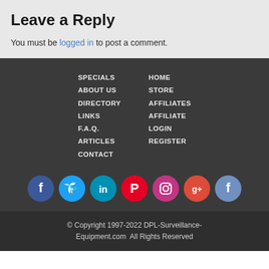Leave a Reply
You must be logged in to post a comment.
SPECIALS
ABOUT US
DIRECTORY
LINKS
F.A.Q.
ARTICLES
CONTACT
HOME
STORE
AFFILIATES
AFFILIATE LOGIN
REGISTER
[Figure (other): Row of 7 social media icons: Facebook (blue), Twitter (light blue), LinkedIn (teal), Pinterest (red), Instagram (magenta/red), Google+ (orange-red), Facebook (muted blue)]
© Copyright 1997-2022 DPL-Surveillance-Equipment.com  All Rights Reserved